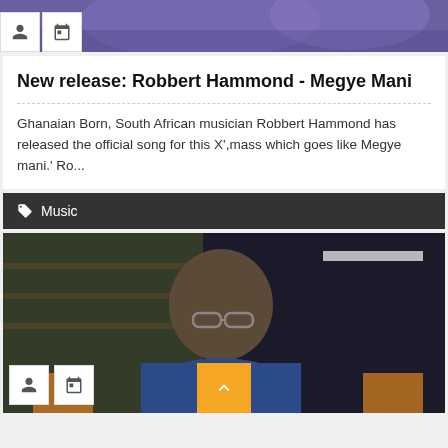[Figure (photo): Top partial image strip with purple/blue tones, showing icon buttons for user and calendar at bottom left]
New release: Robbert Hammond - Megye Mani
Ghanaian Born, South African musician Robbert Hammond has released the official song for this X',mass which goes like Megye mani.' Ro...
Music
[Figure (photo): Photo of a man wearing glasses and a blue shirt, seated, looking down, with bookshelves visible in background. Icon buttons for user and calendar visible at bottom left. Orange scroll-to-top button at bottom center.]